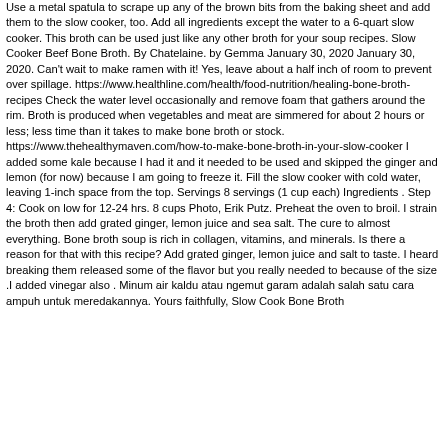Use a metal spatula to scrape up any of the brown bits from the baking sheet and add them to the slow cooker, too. Add all ingredients except the water to a 6-quart slow cooker. This broth can be used just like any other broth for your soup recipes. Slow Cooker Beef Bone Broth. By Chatelaine. by Gemma January 30, 2020 January 30, 2020. Can't wait to make ramen with it! Yes, leave about a half inch of room to prevent over spillage. https://www.healthline.com/health/food-nutrition/healing-bone-broth-recipes Check the water level occasionally and remove foam that gathers around the rim. Broth is produced when vegetables and meat are simmered for about 2 hours or less; less time than it takes to make bone broth or stock. https://www.thehealthymaven.com/how-to-make-bone-broth-in-your-slow-cooker I added some kale because I had it and it needed to be used and skipped the ginger and lemon (for now) because I am going to freeze it. Fill the slow cooker with cold water, leaving 1-inch space from the top. Servings 8 servings (1 cup each) Ingredients . Step 4: Cook on low for 12-24 hrs. 8 cups Photo, Erik Putz. Preheat the oven to broil. I strain the broth then add grated ginger, lemon juice and sea salt. The cure to almost everything. Bone broth soup is rich in collagen, vitamins, and minerals. Is there a reason for that with this recipe? Add grated ginger, lemon juice and salt to taste. I heard breaking them released some of the flavor but you really needed to because of the size .I added vinegar also . Minum air kaldu atau ngemut garam adalah salah satu cara ampuh untuk meredakannya. Yours faithfully, Slow Cook Bone Broth